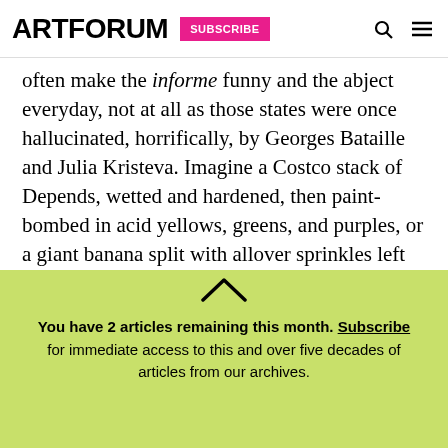ARTFORUM | SUBSCRIBE
often make the informe funny and the abject everyday, not at all as those states were once hallucinated, horrifically, by Georges Bataille and Julia Kristeva. Imagine a Costco stack of Depends, wetted and hardened, then paint-bombed in acid yellows, greens, and purples, or a giant banana split with allover sprinkles left out in a warm rain, then sealed with a roughened resin. (The best description of the work might be the lyrics of “MacArthur Park,” more than once voted the worst song of all
You have 2 articles remaining this month. Subscribe for immediate access to this and over five decades of articles from our archives.